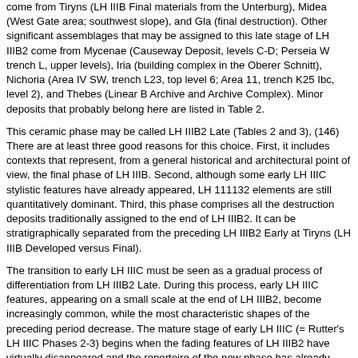come from Tiryns (LH IIIB Final materials from the Unterburg), Midea (West Gate area; southwest slope), and Gla (final destruction). Other significant assemblages that may be assigned to this late stage of LH IIIB2 come from Mycenae (Causeway Deposit, levels C-D; Perseia W trench L, upper levels), Iria (building complex in the Oberer Schnitt), Nichoria (Area IV SW, trench L23, top level 6; Area 11, trench K25 Ibc, level 2), and Thebes (Linear B Archive and Archive Complex). Minor deposits that probably belong here are listed in Table 2.
This ceramic phase may be called LH IIIB2 Late (Tables 2 and 3), (146) There are at least three good reasons for this choice. First, it includes contexts that represent, from a general historical and architectural point of view, the final phase of LH IIIB. Second, although some early LH IIIC stylistic features have already appeared, LH 111132 elements are still quantitatively dominant. Third, this phase comprises all the destruction deposits traditionally assigned to the end of LH IIIB2. It can be stratigraphically separated from the preceding LH IIIB2 Early at Tiryns (LH IIIB Developed versus Final).
The transition to early LH IIIC must be seen as a gradual process of differentiation from LH IIIB2 Late. During this process, early LH IIIC features, appearing on a small scale at the end of LH IIIB2, become increasingly common, while the most characteristic shapes of the preceding period decrease. The mature stage of early LH IIIC (= Rutter's LH IIIC Phases 2-3) begins when the fading features of LH IIIB2 have virtually disappeared and the repertoire of the new phase has already developed its own range of shapes and motifs. The deposits belonging to this period are identified by the presence of the carinated cup FS 240, the linear conical kylix FS 275, and the linear angular bowl FS 295. (147)
The very beginning of LH IIIC, however, may be recognized in those